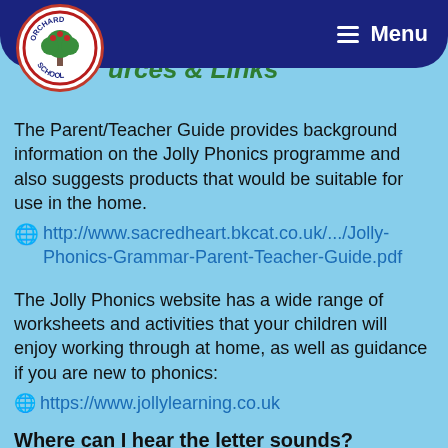Phonics Useful Phonics Resources & Links
The Parent/Teacher Guide provides background information on the Jolly Phonics programme and also suggests products that would be suitable for use in the home.
http://www.sacredheart.bkcat.co.uk/.../Jolly-Phonics-Grammar-Parent-Teacher-Guide.pdf
The Jolly Phonics website has a wide range of worksheets and activities that your children will enjoy working through at home, as well as guidance if you are new to phonics:
https://www.jollylearning.co.uk
Where can I hear the letter sounds?